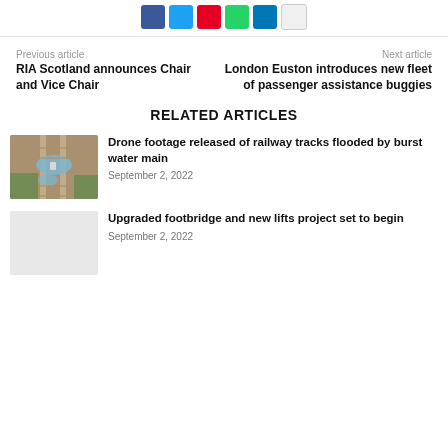[Figure (other): Social media share buttons: Facebook (blue), Twitter (light blue), Pinterest (red), WhatsApp (green), LinkedIn (dark blue), copy/share (white/grey)]
Previous article
RIA Scotland announces Chair and Vice Chair
Next article
London Euston introduces new fleet of passenger assistance buggies
RELATED ARTICLES
[Figure (photo): Aerial drone photo of flooded railway tracks from above, showing water on tracks with surrounding vegetation]
Drone footage released of railway tracks flooded by burst water main
September 2, 2022
Upgraded footbridge and new lifts project set to begin
September 2, 2022